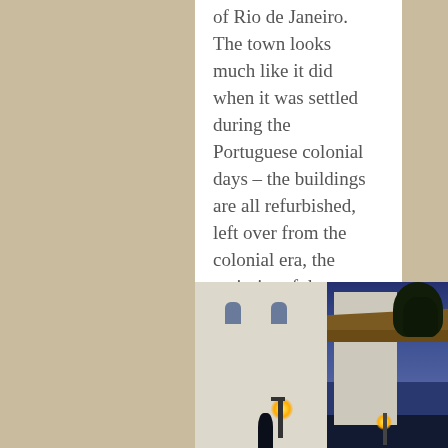of Rio de Janeiro.  The town looks much like it did when it was settled during the Portuguese colonial days – the buildings are all refurbished, left over from the colonial era, the majority of the streets have not been paved and have unique forms of large cobblestone.
[Figure (photo): Nighttime photo of a colonial-era building with white walls and arched windows, lit by street lamps with warm yellow glow, against a deep blue twilight sky, with tree silhouette visible in background]